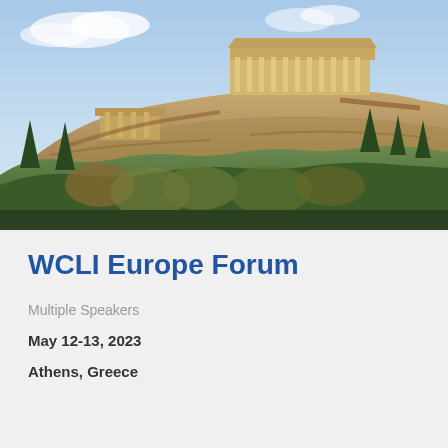[Figure (photo): Aerial/panoramic view of the Acropolis of Athens, Greece, with the Parthenon visible at the top of the rocky hill, surrounded by green trees and ancient ruins]
WCLI Europe Forum
Multiple Speakers
May 12-13, 2023
Athens, Greece